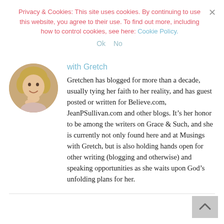Privacy & Cookies: This site uses cookies. By continuing to use this website, you agree to their use. To find out more, including how to control cookies, see here: Cookie Policy.
Ok   No
with Gretch
[Figure (photo): Circular portrait photo of a woman with blonde hair, smiling, hand near chin.]
Gretchen has blogged for more than a decade, usually tying her faith to her reality, and has guest posted or written for Believe.com, JeanPSullivan.com and other blogs. It’s her honor to be among the writers on Grace & Such, and she is currently not only found here and at Musings with Gretch, but is also holding hands open for other writing (blogging and otherwise) and speaking opportunities as she waits upon God’s unfolding plans for her.